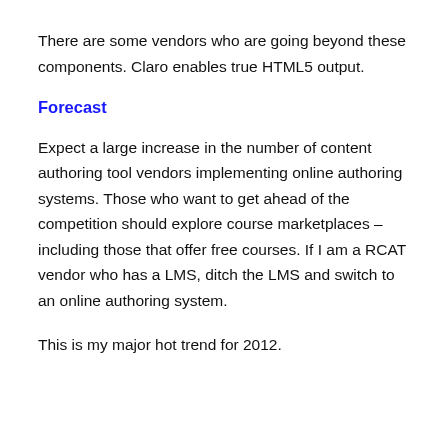There are some vendors who are going beyond these components. Claro enables true HTML5 output.
Forecast
Expect a large increase in the number of content authoring tool vendors implementing online authoring systems. Those who want to get ahead of the competition should explore course marketplaces – including those that offer free courses. If I am a RCAT vendor who has a LMS, ditch the LMS and switch to an online authoring system.
This is my major hot trend for 2012.